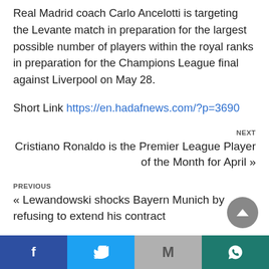Real Madrid coach Carlo Ancelotti is targeting the Levante match in preparation for the largest possible number of players within the royal ranks in preparation for the Champions League final against Liverpool on May 28.
Short Link https://en.hadafnews.com/?p=3690
NEXT
Cristiano Ronaldo is the Premier League Player of the Month for April »
PREVIOUS
« Lewandowski shocks Bayern Munich by refusing to extend his contract
[Figure (infographic): Social media share bar at bottom with Facebook, Twitter, Gmail, and WhatsApp buttons]